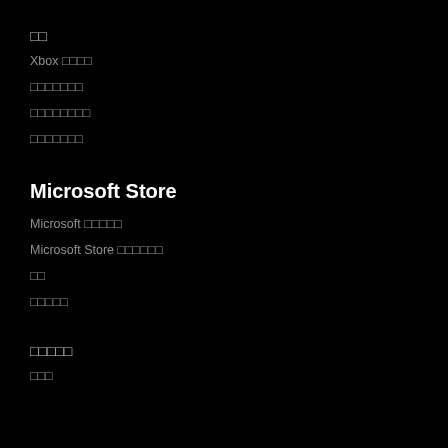□□
Xbox □□□□
□□□□□□□
□□□□□□□□
□□□□□□□
Microsoft Store
Microsoft □□□□□
Microsoft Store □□□□□□
□□
□□□□□
□□□□□
□□□